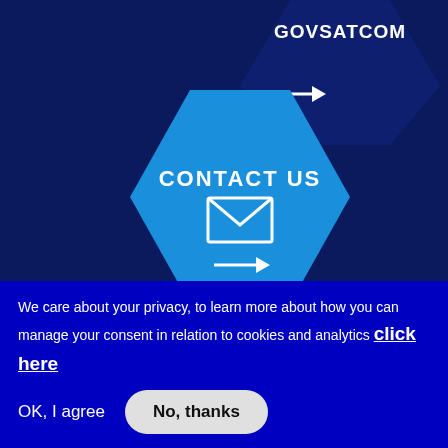[Figure (illustration): Dark navy hexagon partially visible at top with GOVSATCOM text and white arrow, and a cyan/blue hexagon below with CONTACT US text, envelope icon, and white arrow]
[Figure (illustration): Row of 7 circular social media icons on dark navy background: RSS, Twitter, Facebook, LinkedIn, Instagram, YouTube, EU logo]
We care about your privacy, to learn more about how you can manage your consent in relation to cookies and analytics click here
OK, I agree
No, thanks